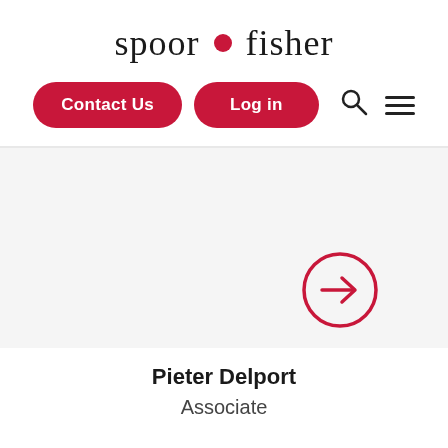[Figure (logo): Spoor Fisher law firm logo with red dot between 'spoor' and 'fisher' text]
[Figure (infographic): Navigation bar with Contact Us and Log in buttons (crimson red pill-shaped), search icon, and hamburger menu icon]
[Figure (infographic): Red circle with right arrow icon linking to person profile]
Pieter Delport
Associate
[Figure (infographic): Language selector badge showing South African flag and English label]